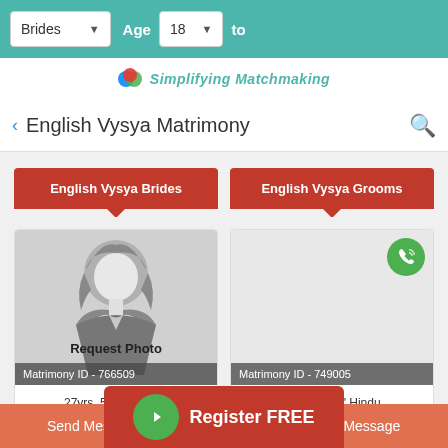Brides | Age 18 ▾ to
[Figure (logo): Matrimony site logo with colorful circles and tagline 'Simplifying Matchmaking']
< English Vysya Matrimony
English Vysya Brides
English Vysya Grooms
[Figure (photo): Default bride silhouette with 'Request Photo' text and Matrimony ID - 766509]
[Figure (photo): Blank profile photo with phone call button and Matrimony ID - 749005]
27yrs, 5' 02" Hindu, Vysya, English, Australia
46yrs, 5' 08" Hindu, Vysya, English, Not Specified, UK
Send Message | Register FREE | d Message